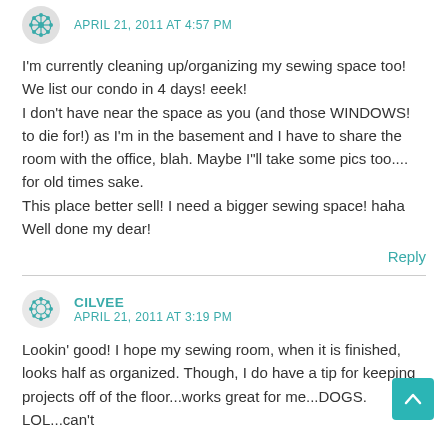APRIL 21, 2011 AT 4:57 PM
I'm currently cleaning up/organizing my sewing space too! We list our condo in 4 days! eeek!
I don't have near the space as you (and those WINDOWS! to die for!) as I'm in the basement and I have to share the room with the office, blah. Maybe I"ll take some pics too.... for old times sake.
This place better sell! I need a bigger sewing space! haha
Well done my dear!
Reply
CILVEE
APRIL 21, 2011 AT 3:19 PM
Lookin' good! I hope my sewing room, when it is finished, looks half as organized. Though, I do have a tip for keeping projects off of the floor...works great for me...DOGS. LOL...can't